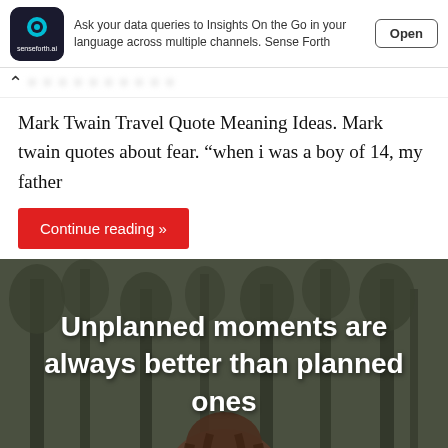[Figure (screenshot): App advertisement banner for senseforth.ai with logo, description text, and Open button]
Ask your data queries to Insights On the Go in your language across multiple channels. Sense Forth
Mark Twain Travel Quote Meaning Ideas. Mark twain quotes about fear. “when i was a boy of 14, my father
Continue reading »
[Figure (photo): Quote image over forest background showing person from behind with text: Unplanned moments are always better than planned ones]